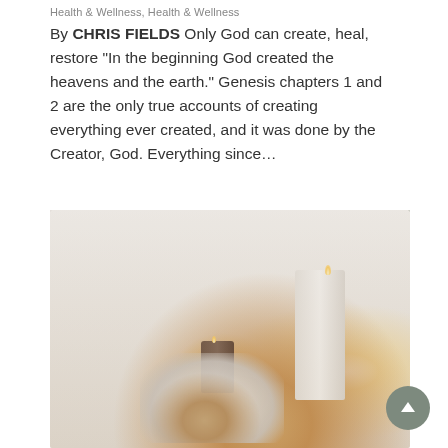Health & Wellness, Health & Wellness
By CHRIS FIELDS Only God can create, heal, restore "In the beginning God created the heavens and the earth." Genesis chapters 1 and 2 are the only true accounts of creating everything ever created, and it was done by the Creator, God. Everything since…
[Figure (photo): A cozy flat-lay style photograph of a table with lit candles (one tall white pillar candle and one small amber jar candle), a white coffee mug with latte art, a gold straw, plant foliage in a vase in the background, and soft draping curtains. Warm, relaxed wellness aesthetic.]